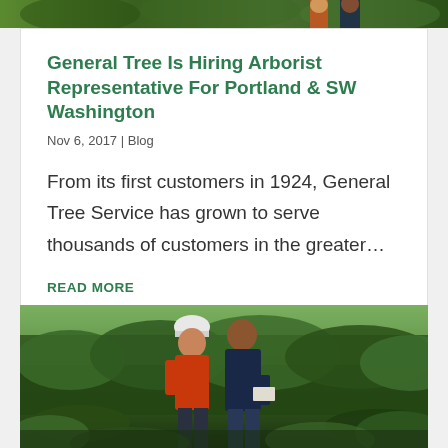[Figure (photo): Partial view of outdoor scene with people and trees, cropped at top]
General Tree Is Hiring Arborist Representative For Portland & SW Washington
Nov 6, 2017 | Blog
From its first customers in 1924, General Tree Service has grown to serve thousands of customers in the greater...
READ MORE
[Figure (photo): Two people outdoors near a tall hedge — one wearing an orange jacket and white hard hat, the other in a dark navy jacket holding papers, both looking upward at trees]